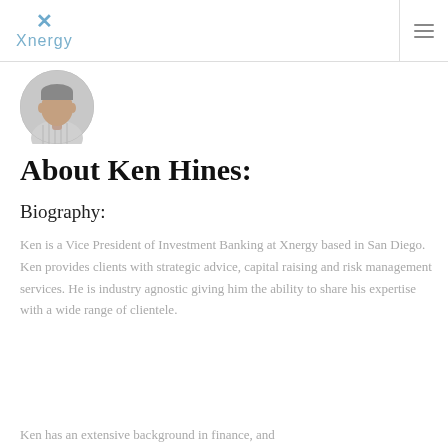Xnergy
[Figure (photo): Circular profile photo of Ken Hines, a man in a striped shirt]
About Ken Hines:
Biography:
Ken is a Vice President of Investment Banking at Xnergy based in San Diego. Ken provides clients with strategic advice, capital raising and risk management services. He is industry agnostic giving him the ability to share his expertise with a wide range of clientele.
Ken has an extensive background in finance, and